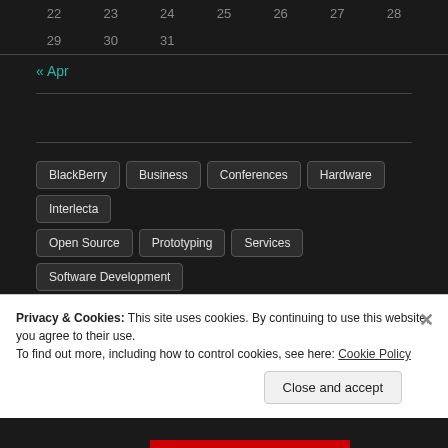| 22 | 23 | 24 | 25 | 26 | 27 | 28 |
| --- | --- | --- | --- | --- | --- | --- |
| 29 | 30 | 31 |  |  |  |  |
« Apr
BlackBerry
Business
Conferences
Hardware
Interlecta
Open Source
Prototyping
Services
Software Development
Thoughts
Uncategorized
Privacy & Cookies: This site uses cookies. By continuing to use this website, you agree to their use.
To find out more, including how to control cookies, see here: Cookie Policy
Close and accept